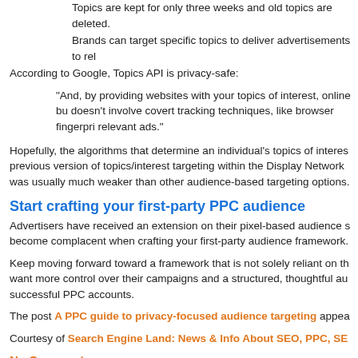Topics are kept for only three weeks and old topics are deleted.
Brands can target specific topics to deliver advertisements to rel
According to Google, Topics API is privacy-safe:
“And, by providing websites with your topics of interest, online bu doesn’t involve covert tracking techniques, like browser fingerpri relevant ads.”
Hopefully, the algorithms that determine an individual’s topics of interes previous version of topics/interest targeting within the Display Network was usually much weaker than other audience-based targeting options.
Start crafting your first-party PPC audience
Advertisers have received an extension on their pixel-based audience s become complacent when crafting your first-party audience framework
Keep moving forward toward a framework that is not solely reliant on th want more control over their campaigns and a structured, thoughtful au successful PPC accounts.
The post A PPC guide to privacy-focused audience targeting appea
Courtesy of Search Engine Land: News & Info About SEO, PPC, SE
No Comments
Category seo news | Tags: